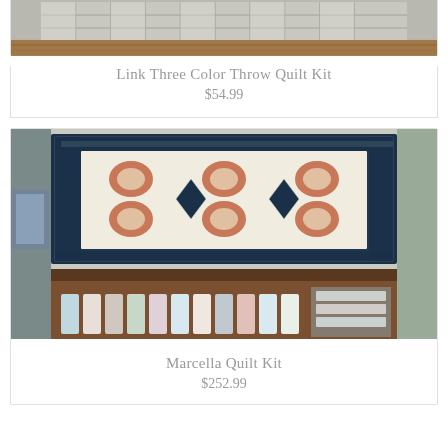[Figure (photo): Link Three Color Throw Quilt Kit product photo showing a gray striped quilt on a wooden surface, partially visible at top of page]
Link Three Color Throw Quilt Kit
$54.99
[Figure (photo): Marcella Quilt Kit product photo showing a large ornate blue and white quilt hanging on a wall in a quilt shop, with fabric bolts displayed on a table below]
Marcella Quilt Kit
$252.99